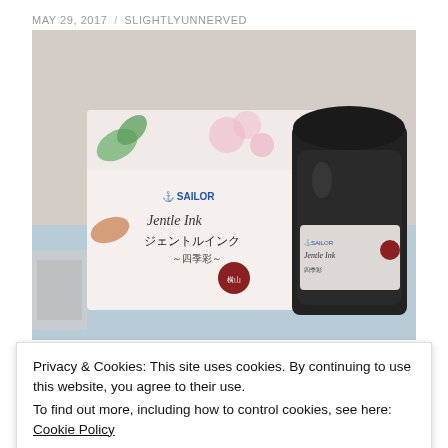MAY 29, 2017  /  SLIGHTLYUNNERVED
[Figure (photo): Sailor Jentle Ink bottle and box. The box is white with floral and leaf designs in green and pink, labeled 'SAILOR Jentle Ink ジェントルインク ～四季彩～'. The ink bottle is dark/black glass with a round lid, also labeled 'SAILOR Jentle Ink'. Both sit on a blue geometric patterned surface.]
Privacy & Cookies: This site uses cookies. By continuing to use this website, you agree to their use.
To find out more, including how to control cookies, see here: Cookie Policy
Close and accept